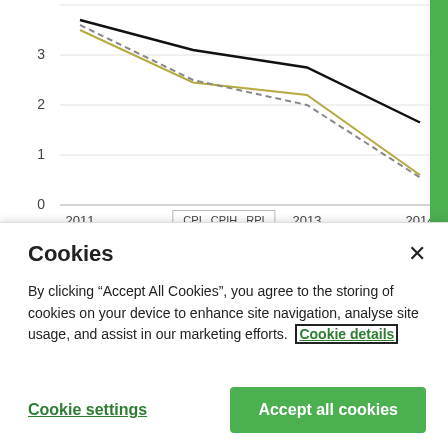[Figure (line-chart): ]
CPI  CPIH  RPI
Cookies
By clicking “Accept All Cookies”, you agree to the storing of cookies on your device to enhance site navigation, analyse site usage, and assist in our marketing efforts. Cookie details
Cookie settings
Accept all cookies